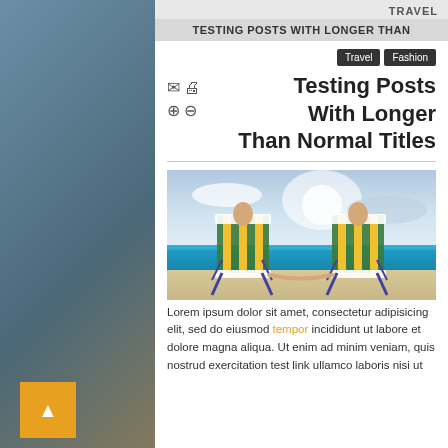TRAVEL
TESTING POSTS WITH LONGER THAN
Travel  Fashion
Testing Posts With Longer Than Normal Titles
[Figure (photo): Two beach chairs side by side on a sandy beach with blue ocean water and cloudy sky. People sitting in the chairs are holding hands.]
Lorem ipsum dolor sit amet, consectetur adipisicing elit, sed do eiusmod tempor incididunt ut labore et dolore magna aliqua. Ut enim ad minim veniam, quis nostrud exercitation test link ullamco laboris nisi ut